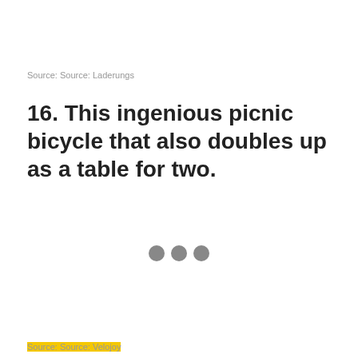Source: Source: Laderungs
16. This ingenious picnic bicycle that also doubles up as a table for two.
[Figure (other): Three grey loading dots indicating an image is loading]
Source: Source: Velojoy